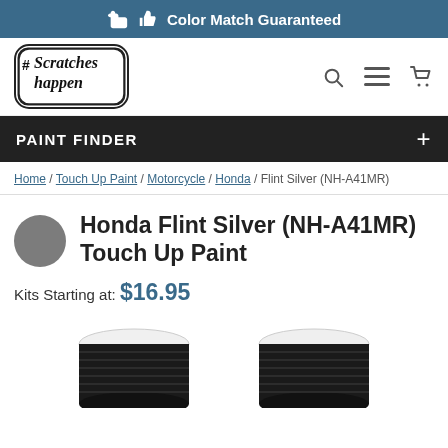Color Match Guaranteed
[Figure (logo): #ScratchesHappen logo — black and white sticker-style logo with handwritten text]
PAINT FINDER
Home / Touch Up Paint / Motorcycle / Honda / Flint Silver (NH-A41MR)
Honda Flint Silver (NH-A41MR) Touch Up Paint
Kits Starting at: $16.95
[Figure (photo): Two black touch-up paint bottle caps viewed from above, partially visible at bottom of page]